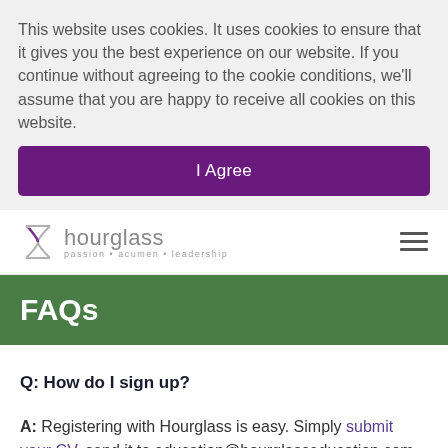This website uses cookies. It uses cookies to ensure that it gives you the best experience on our website. If you continue without agreeing to the cookie conditions, we'll assume that you are happy to receive all cookies on this website.
I Agree
[Figure (logo): Hourglass logo with hourglass icon and tagline 'passion · acumen · leadership']
FAQs
Q: How do I sign up?
A: Registering with Hourglass is easy. Simply submit your CV, send it to education@hourglasseducation.com or call one